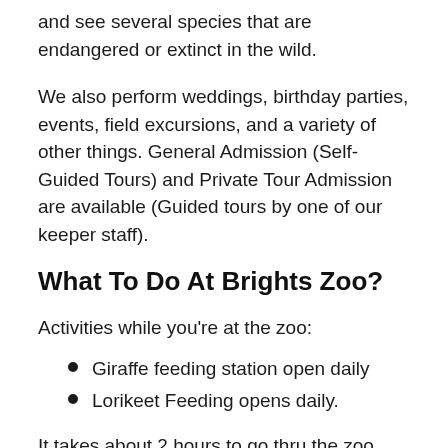and see several species that are endangered or extinct in the wild.
We also perform weddings, birthday parties, events, field excursions, and a variety of other things. General Admission (Self-Guided Tours) and Private Tour Admission are available (Guided tours by one of our keeper staff).
What To Do At Brights Zoo?
Activities while you’re at the zoo:
Giraffe feeding station open daily
Lorikeet Feeding opens daily.
It takes about 2 hours to go thru the zoo.